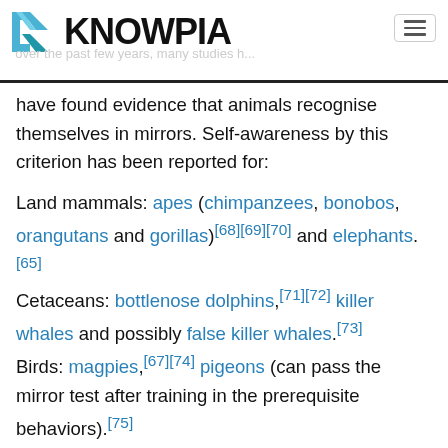KNOWPIA
have found evidence that animals recognise themselves in mirrors. Self-awareness by this criterion has been reported for:
Land mammals: apes (chimpanzees, bonobos, orangutans and gorillas)[68][69][70] and elephants.[65]
Cetaceans: bottlenose dolphins,[71][72] killer whales and possibly false killer whales.[73]
Birds: magpies,[67][74] pigeons (can pass the mirror test after training in the prerequisite behaviors).[75]
Until recently it was thought that self-recognition was absent from animals without a neocortex, and was restricted to mammals with large brains and well developed social cognition. However, in 2008 a study of self-recognition in corvids reported significant